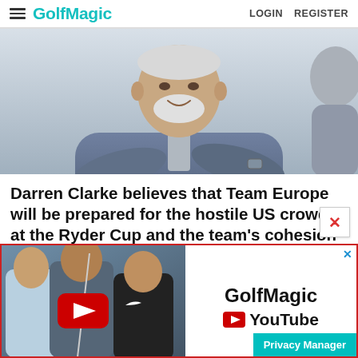GolfMagic  LOGIN  REGISTER
[Figure (photo): Darren Clarke, a man with white hair and beard wearing a blue zip-up jacket with crossed arms, photographed against a grey/white sky background]
Darren Clarke believes that Team Europe will be prepared for the hostile US crowds at the Ryder Cup and the team's cohesion will once again
[Figure (screenshot): GolfMagic YouTube advertisement banner showing three golfers (Jon Rahm, Dustin Johnson, Rory McIlroy) with GolfMagic YouTube branding and a Privacy Manager button]
Privacy Manager